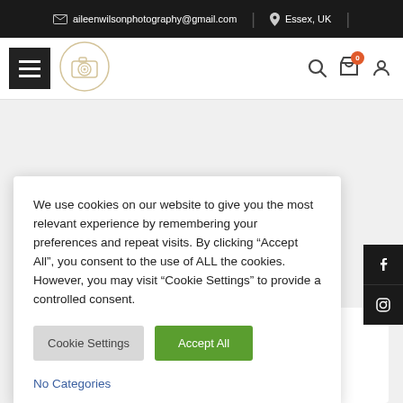aileenwilsonphotography@gmail.com  |  Essex, UK
[Figure (screenshot): Navigation bar with hamburger menu, camera logo, search icon, shopping bag with badge 0, and user icon]
We use cookies on our website to give you the most relevant experience by remembering your preferences and repeat visits. By clicking “Accept All”, you consent to the use of ALL the cookies. However, you may visit "Cookie Settings" to provide a controlled consent.
Cookie Settings  Accept All
No Categories